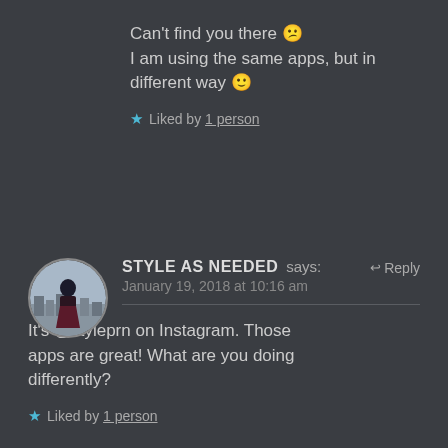Can't find you there 😕 I am using the same apps, but in different way 🙂
Liked by 1 person
STYLE AS NEEDED says:  Reply
January 19, 2018 at 10:16 am
It's @styleprn on Instagram. Those apps are great! What are you doing differently?
Liked by 1 person